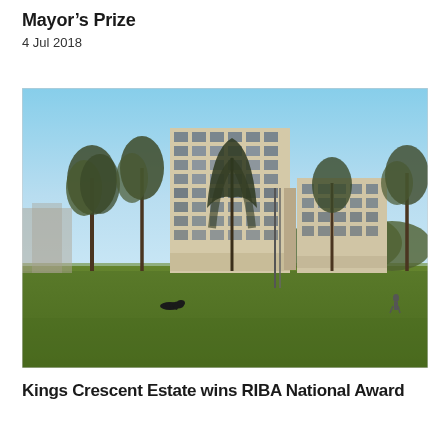Mayor’s Prize
4 Jul 2018
[Figure (photo): Exterior photograph of Kings Crescent Estate, a multi-storey residential building complex viewed from a green park. The buildings have a pale stone/cream facade with regular grid windows. Bare winter trees are in the foreground, a dog runs across the grass, and a person is visible on the right side of the park.]
Kings Crescent Estate wins RIBA National Award